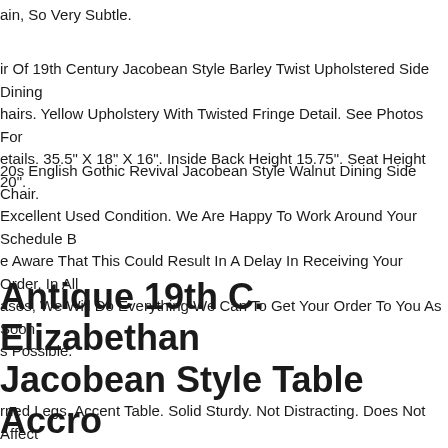ain, So Very Subtle.
ir Of 19th Century Jacobean Style Barley Twist Upholstered Side Dining Chairs. Yellow Upholstery With Twisted Fringe Detail. See Photos For etails. 35.5" X 18" X 16". Inside Back Height 15.75". Seat Height 20".
20s English Gothic Revival Jacobean Style Walnut Dining Side Chair. Excellent Used Condition. We Are Happy To Work Around Your Schedule B e Aware That This Could Result In A Delay In Receiving Your Order. In All ases, We Will Do Everything We Can To Get Your Order To You As Soon s Possible.
Antique 19th C. Elizabethan Jacobean Style Table Accent Bistro Dark Oak
rned Legs. Accent Table. Solid Sturdy. Not Distracting. Does Not Affect he Stability Of The Table. Approx 24" By 24" 29 12"h.